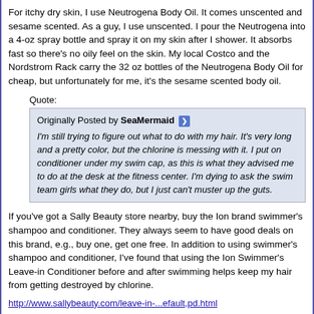For itchy dry skin, I use Neutrogena Body Oil. It comes unscented and sesame scented. As a guy, I use unscented. I pour the Neutrogena into a 4-oz spray bottle and spray it on my skin after I shower. It absorbs fast so there's no oily feel on the skin. My local Costco and the Nordstrom Rack carry the 32 oz bottles of the Neutrogena Body Oil for cheap, but unfortunately for me, it's the sesame scented body oil.
Quote:
Originally Posted by SeaMermaid
I'm still trying to figure out what to do with my hair. It's very long and a pretty color, but the chlorine is messing with it. I put on conditioner under my swim cap, as this is what they advised me to do at the desk at the fitness center. I'm dying to ask the swim team girls what they do, but I just can't muster up the guts.
If you've got a Sally Beauty store nearby, buy the Ion brand swimmer's shampoo and conditioner. They always seem to have good deals on this brand, e.g., buy one, get one free. In addition to using swimmer's shampoo and conditioner, I've found that using the Ion Swimmer's Leave-in Conditioner before and after swimming helps keep my hair from getting destroyed by chlorine.
http://www.sallybeauty.com/leave-in-...efault,pd.html